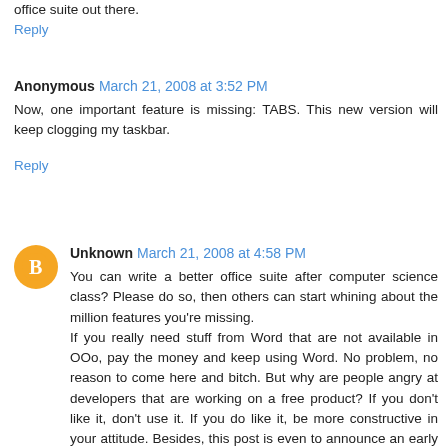office suite out there.
Reply
Anonymous  March 21, 2008 at 3:52 PM
Now, one important feature is missing: TABS. This new version will keep clogging my taskbar.
Reply
Unknown  March 21, 2008 at 4:58 PM
You can write a better office suite after computer science class? Please do so, then others can start whining about the million features you're missing.
If you really need stuff from Word that are not available in OOo, pay the money and keep using Word. No problem, no reason to come here and bitch. But why are people angry at developers that are working on a free product? If you don't like it, don't use it. If you do like it, be more constructive in your attitude. Besides, this post is even to announce an early preview version!